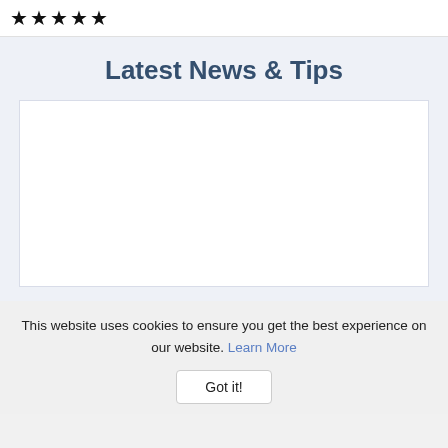★★★★★
Latest News & Tips
[Figure (other): White rectangular content area placeholder within a light blue section]
This website uses cookies to ensure you get the best experience on our website. Learn More
Got it!